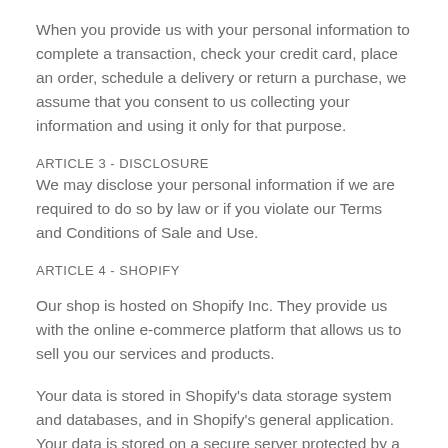When you provide us with your personal information to complete a transaction, check your credit card, place an order, schedule a delivery or return a purchase, we assume that you consent to us collecting your information and using it only for that purpose.
ARTICLE 3 - DISCLOSURE
We may disclose your personal information if we are required to do so by law or if you violate our Terms and Conditions of Sale and Use.
ARTICLE 4 - SHOPIFY
Our shop is hosted on Shopify Inc. They provide us with the online e-commerce platform that allows us to sell you our services and products.
Your data is stored in Shopify's data storage system and databases, and in Shopify's general application. Your data is stored on a secure server protected by a